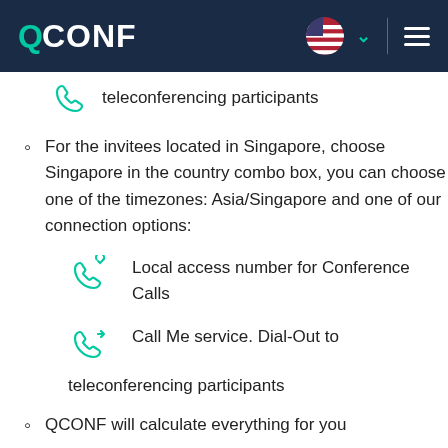QCONF
teleconferencing participants
For the invitees located in Singapore, choose Singapore in the country combo box, you can choose one of the timezones: Asia/Singapore and one of our connection options:
[Figure (illustration): Teal phone icon with star — Local access number for Conference Calls]
Local access number for Conference Calls
[Figure (illustration): Teal phone icon with arrow — Call Me service. Dial-Out to teleconferencing participants]
Call Me service. Dial-Out to teleconferencing participants
QCONF will calculate everything for you